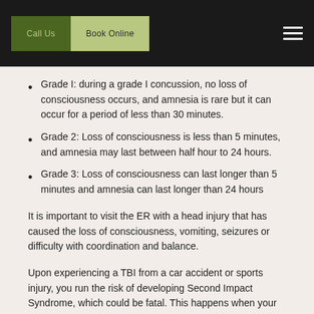Call Us | Book Online
Grade I: during a grade I concussion, no loss of consciousness occurs, and amnesia is rare but it can occur for a period of less than 30 minutes.
Grade 2: Loss of consciousness is less than 5 minutes, and amnesia may last between half hour to 24 hours.
Grade 3: Loss of consciousness can last longer than 5 minutes and amnesia can last longer than 24 hours
It is important to visit the ER with a head injury that has caused the loss of consciousness, vomiting, seizures or difficulty with coordination and balance.
Upon experiencing a TBI from a car accident or sports injury, you run the risk of developing Second Impact Syndrome, which could be fatal. This happens when your head is re-injured before injuries from your first concussion have healed. This can happen because concussion symptoms can take days to develop and